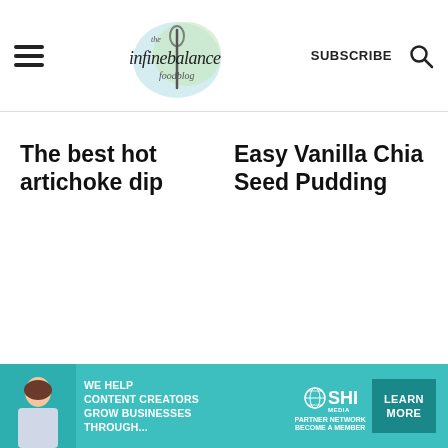the infinebalance foodblog | SUBSCRIBE
The best hot artichoke dip
Easy Vanilla Chia Seed Pudding
[Figure (infographic): SHE Media partner network advertisement banner with text: WE HELP CONTENT CREATORS GROW BUSINESSES THROUGH... PARTNER NETWORK BECOME A MEMBER. LEARN MORE button.]